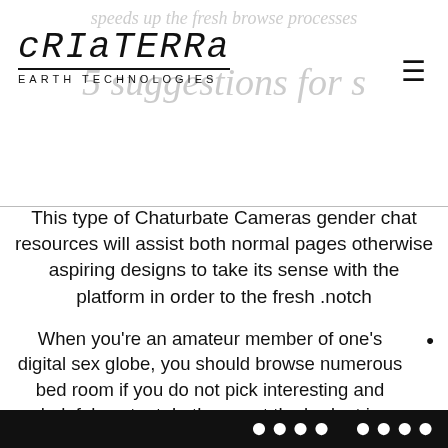CRIaTERRa EARTH TECHNOLOGIES
This type of Chaturbate Cameras gender chat resources will assist both normal pages otherwise aspiring designs to take its sense with the platform in order to the fresh notch.
When you're an amateur member of one's digital sex globe, you should browse numerous bed room if you do not pick interesting and helpful content. In the event the budget is restricted, you could read the chat sex bed room classified by the count regarding tokens for each minute. Therefore, you might amount just how long you can spend which have an excellent camgirl or son into the an exclusive speak as opposed to cracking a bank.